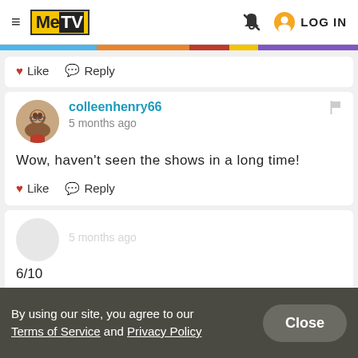MeTV — LOG IN
Like  Reply
colleenhenry66
5 months ago

Wow, haven't seen the shows in a long time!

Like  Reply
By using our site, you agree to our Terms of Service and Privacy Policy
[Close button]
5 months ago
6/10
Like (1)  Reply